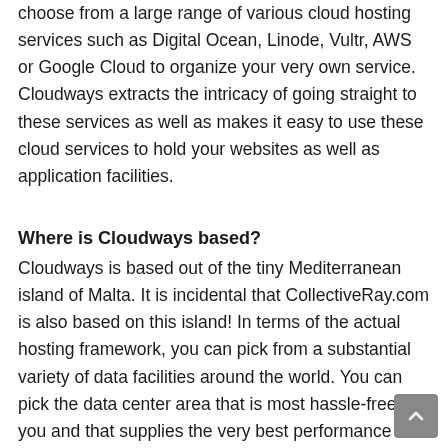choose from a large range of various cloud hosting services such as Digital Ocean, Linode, Vultr, AWS or Google Cloud to organize your very own service. Cloudways extracts the intricacy of going straight to these services as well as makes it easy to use these cloud services to hold your websites as well as application facilities.
Where is Cloudways based?
Cloudways is based out of the tiny Mediterranean island of Malta. It is incidental that CollectiveRay.com is also based on this island! In terms of the actual hosting framework, you can pick from a substantial variety of data facilities around the world. You can pick the data center area that is most hassle-free for you and that supplies the very best performance for your clients.